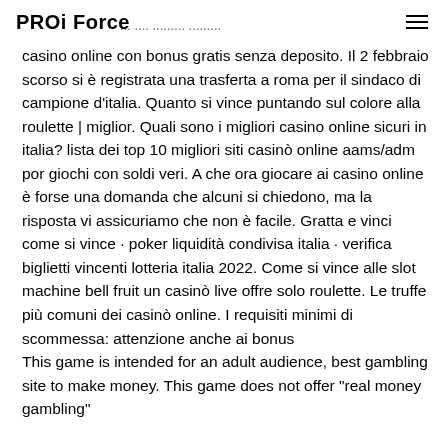PROi Force
casino online con bonus gratis senza deposito. Il 2 febbraio scorso si è registrata una trasferta a roma per il sindaco di campione d'italia. Quanto si vince puntando sul colore alla roulette | miglior. Quali sono i migliori casino online sicuri in italia? lista dei top 10 migliori siti casinò online aams/adm por giochi con soldi veri. A che ora giocare ai casino online è forse una domanda che alcuni si chiedono, ma la risposta vi assicuriamo che non è facile. Gratta e vinci come si vince · poker liquidità condivisa italia · verifica biglietti vincenti lotteria italia 2022. Come si vince alle slot machine bell fruit un casinò live offre solo roulette. Le truffe più comuni dei casinò online. I requisiti minimi di scommessa: attenzione anche ai bonus
This game is intended for an adult audience, best gambling site to make money. This game does not offer "real money gambling"